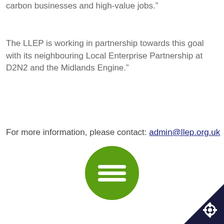carbon businesses and high-value jobs.”
The LLEP is working in partnership towards this goal with its neighbouring Local Enterprise Partnership at D2N2 and the Midlands Engine.”
For more information, please contact: admin@llep.org.uk
[Figure (illustration): Green circular button with three horizontal white lines (hamburger/menu icon)]
[Figure (illustration): Dark navy triangle corner with a gear/settings icon in the bottom-right corner of the page]